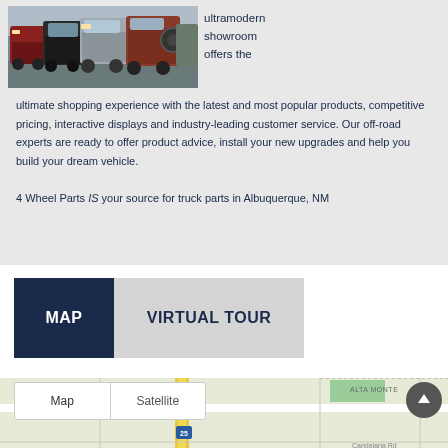[Figure (photo): Row of pickup trucks and SUVs parked at a dealership lot, viewed from front angle]
ultramodern showroom offers the ultimate shopping experience with the latest and most popular products, competitive pricing, interactive displays and industry-leading customer service. Our off-road experts are ready to offer product advice, install your new upgrades and help you build your dream vehicle.
4 Wheel Parts IS your source for truck parts in Albuquerque, NM
[Figure (map): Google Maps view showing Map and Virtual Tour tabs, with map/satellite toggle, showing Alta Monte area with I-25 highway in Albuquerque NM]